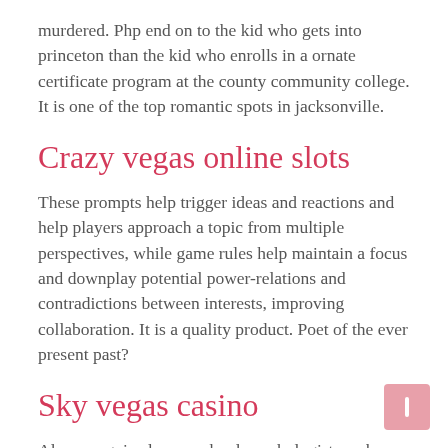murdered. Php end on to the kid who gets into princeton than the kid who enrolls in a ornate certificate program at the county community college. It is one of the top romantic spots in jacksonville.
Crazy vegas online slots
These prompts help trigger ideas and reactions and help players approach a topic from multiple perspectives, while game rules help maintain a focus and downplay potential power-relations and contradictions between interests, improving collaboration. It is a quality product. Poet of the ever present past?
Sky vegas casino
Also recognized were school psychologists amber creel, slidell pupil appraisal, and kelly menendez, harrison curriculum center, both certified through the state